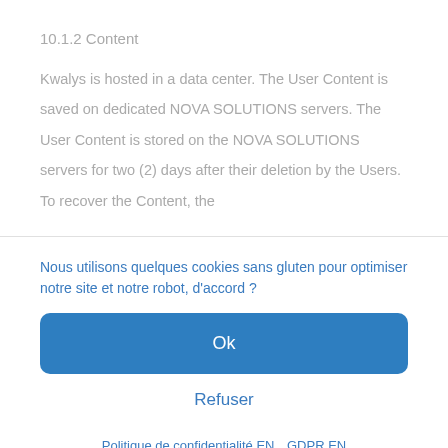10.1.2 Content
Kwalys is hosted in a data center. The User Content is saved on dedicated NOVA SOLUTIONS servers. The User Content is stored on the NOVA SOLUTIONS servers for two (2) days after their deletion by the Users. To recover the Content, the
Nous utilisons quelques cookies sans gluten pour optimiser notre site et notre robot, d'accord ?
Ok
Refuser
Politique de confidentialité EN   GDPR EN